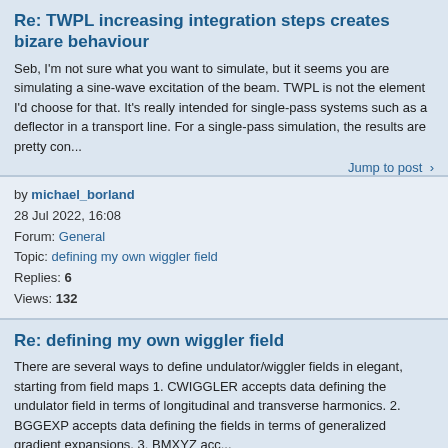Re: TWPL increasing integration steps creates bizare behaviour
Seb, I'm not sure what you want to simulate, but it seems you are simulating a sine-wave excitation of the beam. TWPL is not the element I'd choose for that. It's really intended for single-pass systems such as a deflector in a transport line. For a single-pass simulation, the results are pretty con...
Jump to post >
by michael_borland
28 Jul 2022, 16:08
Forum: General
Topic: defining my own wiggler field
Replies: 6
Views: 132
Re: defining my own wiggler field
There are several ways to define undulator/wiggler fields in elegant, starting from field maps 1. CWIGGLER accepts data defining the undulator field in terms of longitudinal and transverse harmonics. 2. BGGEXP accepts data defining the fields in terms of generalized gradient expansions. 3. BMXYZ acc...
Jump to post >
by michael_borland
27 Jul 2022, 20:15
Forum: General
Topic: Implementation of bunch lenthning and transverse impedance